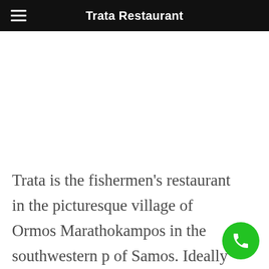Trata Restaurant
Trata is the fishermen’s restaurant in the picturesque village of Ormos Marathokampos in the southwestern p of Samos. Ideally situated, between the two